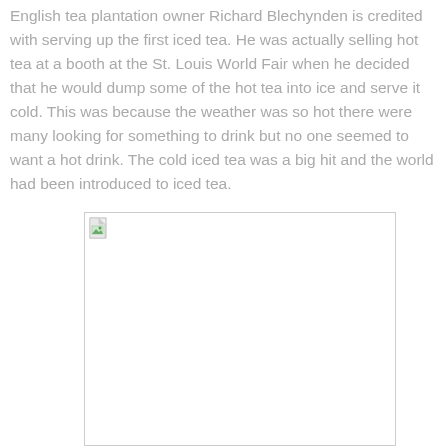English tea plantation owner Richard Blechynden is credited with serving up the first iced tea. He was actually selling hot tea at a booth at the St. Louis World Fair when he decided that he would dump some of the hot tea into ice and serve it cold. This was because the weather was so hot there were many looking for something to drink but no one seemed to want a hot drink. The cold iced tea was a big hit and the world had been introduced to iced tea.
[Figure (photo): A broken/missing image placeholder shown as a white rectangle with a border and a small broken image icon in the top-left corner.]